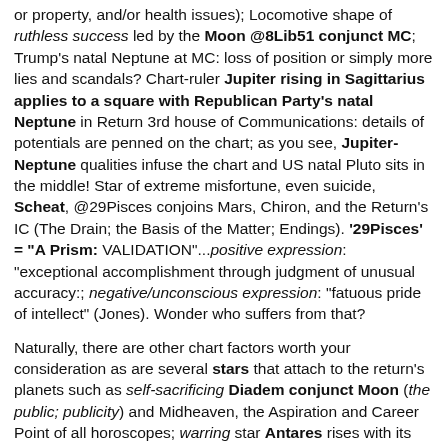or property, and/or health issues); Locomotive shape of ruthless success led by the Moon @8Lib51 conjunct MC; Trump's natal Neptune at MC: loss of position or simply more lies and scandals? Chart-ruler Jupiter rising in Sagittarius applies to a square with Republican Party's natal Neptune in Return 3rd house of Communications: details of potentials are penned on the chart; as you see, Jupiter-Neptune qualities infuse the chart and US natal Pluto sits in the middle! Star of extreme misfortune, even suicide, Scheat, @29Pisces conjoins Mars, Chiron, and the Return's IC (The Drain; the Basis of the Matter; Endings). '29Pisces' = "A Prism: VALIDATION"...positive expression: "exceptional accomplishment through judgment of unusual accuracy:; negative/unconscious expression: "fatuous pride of intellect" (Jones). Wonder who suffers from that?
Naturally, there are other chart factors worth your consideration as are several stars that attach to the return's planets such as self-sacrificing Diadem conjunct Moon (the public; publicity) and Midheaven, the Aspiration and Career Point of all horoscopes; warring star Antares rises with its themes recently expanded by transit Jupiter; Sun @7Cap41